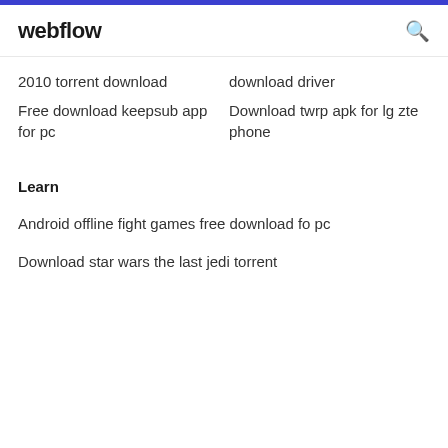webflow
2010 torrent download
download driver
Free download keepsub app for pc
Download twrp apk for lg zte phone
Learn
Android offline fight games free download fo pc
Download star wars the last jedi torrent